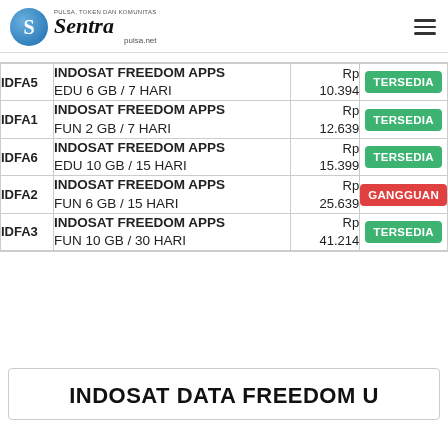[Figure (logo): Sentra pulsa.net logo with blue globe icon]
| Code | Product Name | Price | Status |
| --- | --- | --- | --- |
| IDFA5 | INDOSAT FREEDOM APPS EDU 6 GB / 7 HARI | Rp 10.394 | TERSEDIA |
| IDFA1 | INDOSAT FREEDOM APPS FUN 2 GB / 7 HARI | Rp 12.639 | TERSEDIA |
| IDFA6 | INDOSAT FREEDOM APPS EDU 10 GB / 15 HARI | Rp 15.399 | TERSEDIA |
| IDFA2 | INDOSAT FREEDOM APPS FUN 6 GB / 15 HARI | Rp 25.639 | GANGGUAN |
| IDFA3 | INDOSAT FREEDOM APPS FUN 10 GB / 30 HARI | Rp 41.214 | TERSEDIA |
INDOSAT DATA FREEDOM U